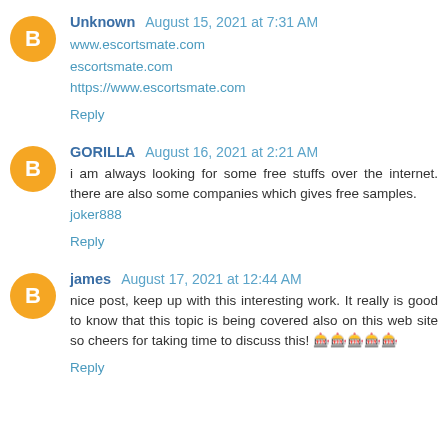Unknown August 15, 2021 at 7:31 AM
www.escortsmate.com
escortsmate.com
https://www.escortsmate.com
Reply
GORILLA August 16, 2021 at 2:21 AM
i am always looking for some free stuffs over the internet. there are also some companies which gives free samples.
joker888
Reply
james August 17, 2021 at 12:44 AM
nice post, keep up with this interesting work. It really is good to know that this topic is being covered also on this web site so cheers for taking time to discuss this! 🎰🎰🎰🎰🎰
Reply